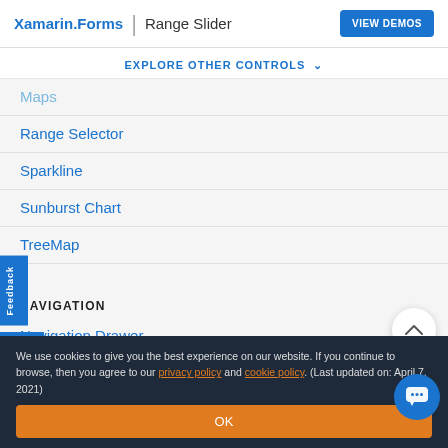Xamarin.Forms | Range Slider  VIEW DEMOS
EXPLORE OTHER CONTROLS
Maps
Range Selector
Sparkline
Sunburst Chart
TreeMap
NAVIGATION
Navigation Drawer
Radial Menu
We use cookies to give you the best experience on our website. If you continue to browse, then you agree to our privacy policy and cookie policy. (Last updated on: April 7, 2021)
OK